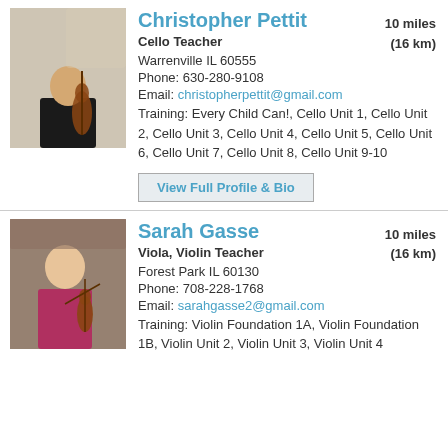[Figure (photo): Photo of Christopher Pettit holding a cello indoors]
Christopher Pettit
Cello Teacher
10 miles (16 km)
Warrenville IL 60555
Phone: 630-280-9108
Email: christopherpettit@gmail.com
Training: Every Child Can!, Cello Unit 1, Cello Unit 2, Cello Unit 3, Cello Unit 4, Cello Unit 5, Cello Unit 6, Cello Unit 7, Cello Unit 8, Cello Unit 9-10
View Full Profile & Bio
[Figure (photo): Photo of Sarah Gasse holding a violin]
Sarah Gasse
Viola, Violin Teacher
10 miles (16 km)
Forest Park IL 60130
Phone: 708-228-1768
Email: sarahgasse2@gmail.com
Training: Violin Foundation 1A, Violin Foundation 1B, Violin Unit 2, Violin Unit 3, Violin Unit 4